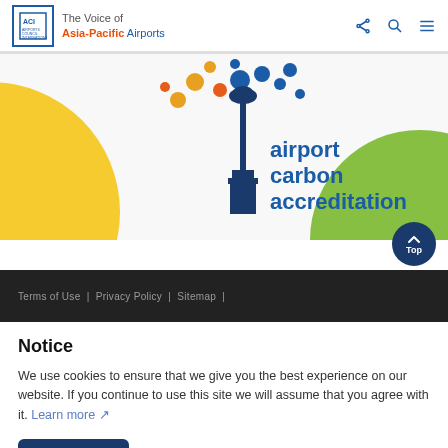The Voice of Asia-Pacific Airports
[Figure (illustration): Airport Carbon Accreditation banner with colorful dots, airport tower, yellow circle, and green circle on white background]
Terms of Use | Privacy Policy | Sitemap |
Notice
We use cookies to ensure that we give you the best experience on our website. If you continue to use this site we will assume that you agree with it. Learn more
ACCEPT